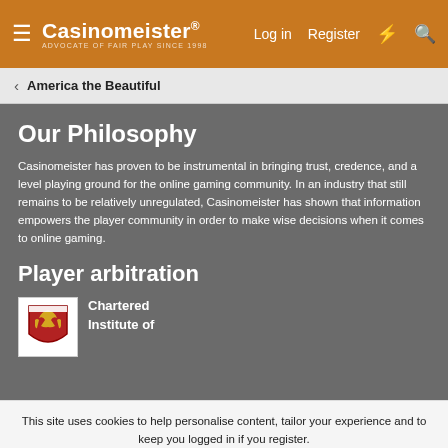Casinomeister® — Log in | Register
America the Beautiful
Our Philosophy
Casinomeister has proven to be instrumental in bringing trust, credence, and a level playing ground for the online gaming community. In an industry that still remains to be relatively unregulated, Casinomeister has shown that information empowers the player community in order to make wise decisions when it comes to online gaming.
Player arbitration
Chartered Institute of
This site uses cookies to help personalise content, tailor your experience and to keep you logged in if you register. By continuing to use this site, you are consenting to our use of cookies.